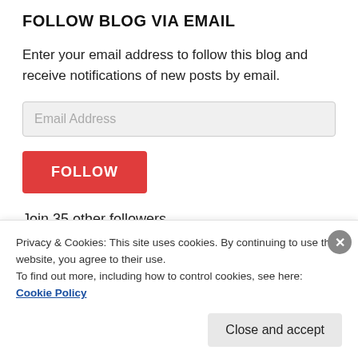FOLLOW BLOG VIA EMAIL
Enter your email address to follow this blog and receive notifications of new posts by email.
Email Address
FOLLOW
Join 35 other followers
Advertisements
Privacy & Cookies: This site uses cookies. By continuing to use this website, you agree to their use.
To find out more, including how to control cookies, see here: Cookie Policy
Close and accept